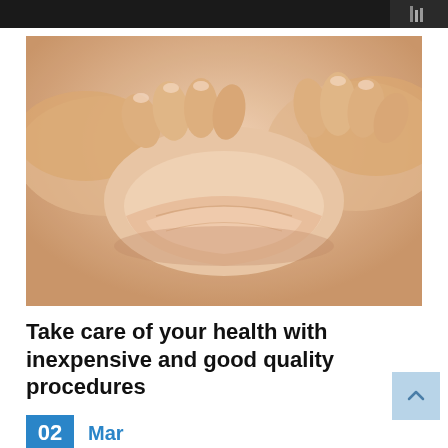[Figure (photo): Close-up photo of a person's hands grabbing belly fat around the midsection, against a white background. The skin appears warm-toned with visible folds from the grip.]
Take care of your health with inexpensive and good quality procedures
02  Mar